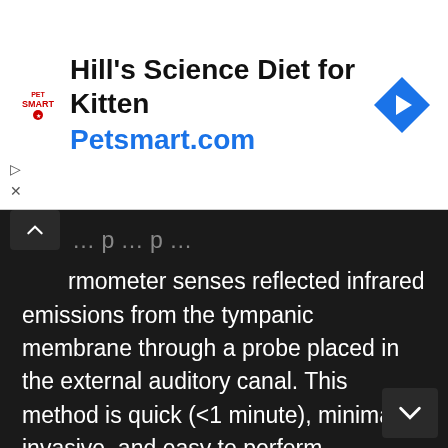[Figure (infographic): PetSmart advertisement banner for Hill's Science Diet for Kitten featuring PetSmart logo, ad title, Petsmart.com URL, and a blue diamond navigation icon]
...rmometer senses reflected infrared emissions from the tympanic membrane through a probe placed in the external auditory canal. This method is quick (<1 minute), minimally invasive, and easy to perform.
It has been reported to estimate rapid fluctuations in core temperature accurately because the tympanic membrane is close to the hypothalamus.
Although its accuracy and reliability have been questioned in many studies in the past